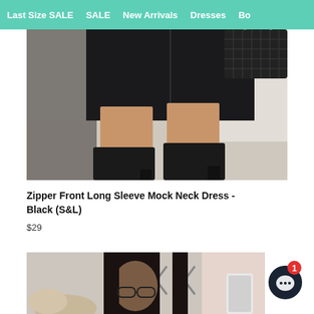Last Size SALE   SALE   New Arrivals   Dresses   Bo...
[Figure (photo): Lower body of a woman wearing a black zipper front mock neck dress and black ankle boots, holding a quilted black handbag, standing on a light wood floor]
Zipper Front Long Sleeve Mock Neck Dress - Black (S&L)
$29
[Figure (photo): Woman with long dark hair and glasses wearing a black outfit, partially visible product listing photo]
[Figure (other): Chat support button (dark circle with speech bubble icon) with red notification badge showing number 1]